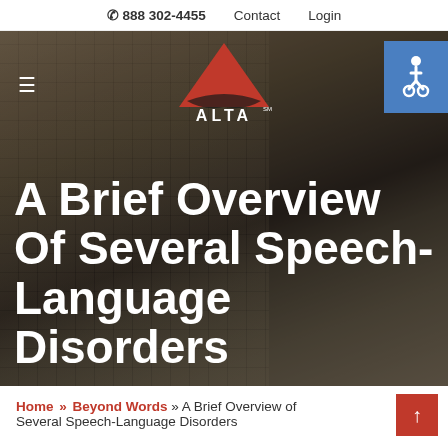✆ 888 302-4455   Contact   Login
[Figure (screenshot): ALTA language learning website hero banner with dark overlay over a blurred outdoor scene. Contains ALTA logo (red triangle above 'ALTA' text), hamburger menu icon on left, blue accessibility icon button on right.]
A Brief Overview Of Several Speech-Language Disorders
Home » Beyond Words » A Brief Overview of Several Speech-Language Disorders